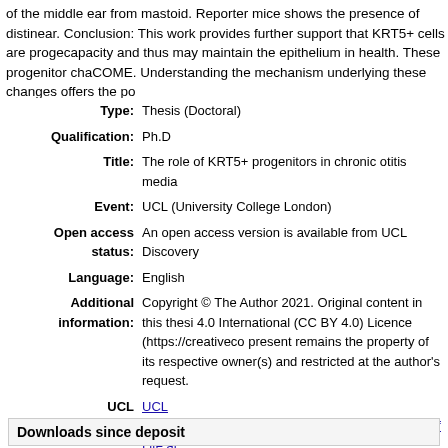of the middle ear from mastoid. Reporter mice shows the presence of distin... ear. Conclusion: This work provides further support that KRT5+ cells are proge... capacity and thus may maintain the epithelium in health. These progenitor cha... COME. Understanding the mechanism underlying these changes offers the po...
| Type: | Thesis (Doctoral) |
| Qualification: | Ph.D |
| Title: | The role of KRT5+ progenitors in chronic otitis media |
| Event: | UCL (University College London) |
| Open access status: | An open access version is available from UCL Discovery |
| Language: | English |
| Additional information: | Copyright © The Author 2021. Original content in this thesi... 4.0 International (CC BY 4.0) Licence (https://creativeco... present remains the property of its respective owner(s) and... restricted at the author's request. |
| UCL classification: | UCL
UCL > Provost and Vice Provost Offices > School of Life ar...
UCL > Provost and Vice Provost Offices > School of Life ar...
UCL GOS Institute of Child Health
UCL > Provost and Vice Provost Offices > School of Life ar...
UCL GOS Institute of Child Health > Developmental Biolog... |
| URI: | https://discovery.ucl.ac.uk/id/eprint/10118735 |
Downloads since deposit